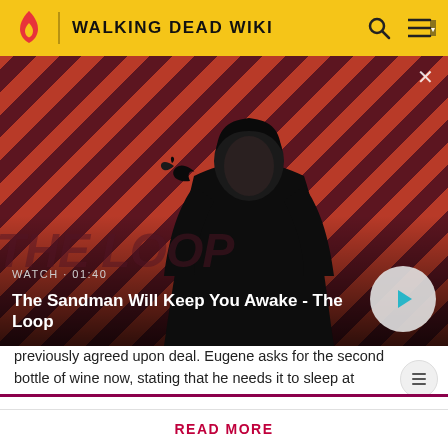WALKING DEAD WIKI
[Figure (screenshot): Video thumbnail showing a dark figure with a bird on their shoulder against a red and black striped background. Overlay text shows 'WATCH · 01:40' and title 'The Sandman Will Keep You Awake - The Loop' with a play button.]
previously agreed upon deal. Eugene asks for the second bottle of wine now, stating that he needs it to sleep at
Attention! Please be aware that spoilers are not allowed on the wiki and a violation of this policy may result in a ban.
READ MORE